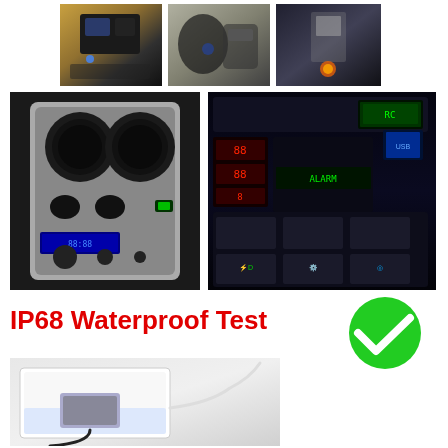[Figure (photo): Small car interior photo showing USB charger installed in dashboard]
[Figure (photo): Small car interior photo showing charger in center console area]
[Figure (photo): Small car interior photo showing charger mounted with blue light]
[Figure (photo): Large car interior photo showing USB charger installed near air vents on center console]
[Figure (photo): Large car interior photo showing illuminated control panel with green and blue LED lights and USB charger]
IP68 Waterproof Test
[Figure (photo): Waterproof test photo showing device submerged in water container with cables]